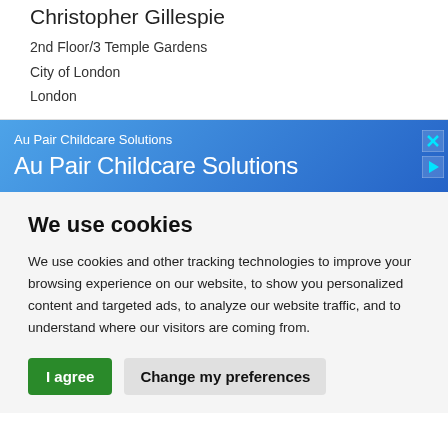Christopher Gillespie
2nd Floor/3 Temple Gardens
City of London
London
Au Pair Childcare Solutions
Au Pair Childcare Solutions
We use cookies
We use cookies and other tracking technologies to improve your browsing experience on our website, to show you personalized content and targeted ads, to analyze our website traffic, and to understand where our visitors are coming from.
I agree | Change my preferences